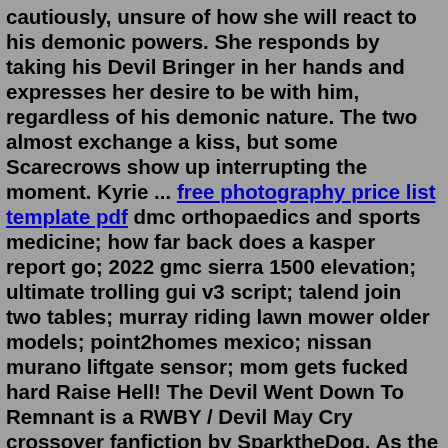cautiously, unsure of how she will react to his demonic powers. She responds by taking his Devil Bringer in her hands and expresses her desire to be with him, regardless of his demonic nature. The two almost exchange a kiss, but some Scarecrows show up interrupting the moment. Kyrie ... free photography price list template pdf dmc orthopaedics and sports medicine; how far back does a kasper report go; 2022 gmc sierra 1500 elevation; ultimate trolling gui v3 script; talend join two tables; murray riding lawn mower older models; point2homes mexico; nissan murano liftgate sensor; mom gets fucked hard Raise Hell! The Devil Went Down To Remnant is a RWBY / Devil May Cry crossover fanfiction by SparktheDog. As the summary states, the story starts right when Dante and Vergil kills Arkham, but in a twist of events, they both find themselves separated and on a new world. Now Dante has to adjust to his new surroundings, kill some Grimm, and find ... The giant spinning Boarbatusk generated heat in her nipple. Hitting the switch in her breast thorax to spray